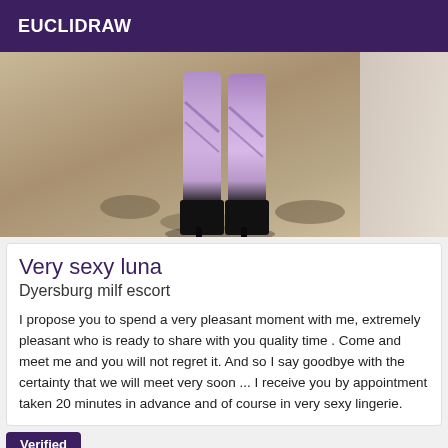EUCLIDRAW
[Figure (photo): Photo showing legs of a person wearing purple/lavender patterned leggings and black high heel boots, standing on a sandy/dirt ground surface.]
Very sexy luna
Dyersburg milf escort
I propose you to spend a very pleasant moment with me, extremely pleasant who is ready to share with you quality time . Come and meet me and you will not regret it. And so I say goodbye with the certainty that we will meet very soon ... I receive you by appointment taken 20 minutes in advance and of course in very sexy lingerie.
Verified